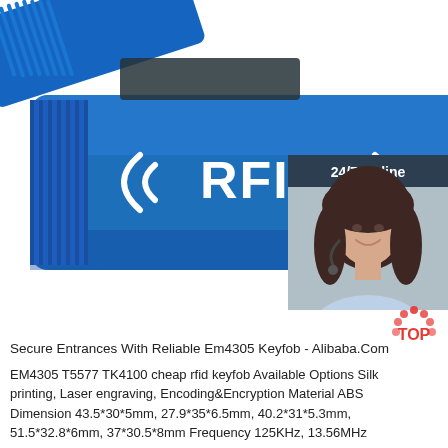[Figure (photo): Blue RFID wristband/keyfob with white RFID logo text '((RFID))' on a blue card/wristband product, with a customer service side panel showing '24/7 Online' text, a female agent with headset, 'Click here for free chat!' text, and an orange QUOTATION button.]
Secure Entrances With Reliable Em4305 Keyfob - Alibaba.Com
EM4305 T5577 TK4100 cheap rfid keyfob Available Options Silk printing, Laser engraving, Encoding&Encryption Material ABS Dimension 43.5*30*5mm, 27.9*35*6.5mm, 40.2*31*5.3mm, 51.5*32.8*6mm, 37*30.5*8mm Frequency 125KHz, 13.56MHz